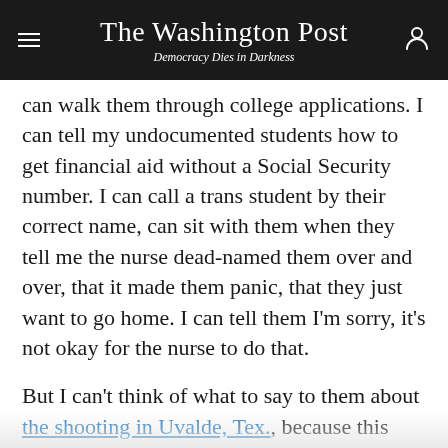The Washington Post — Democracy Dies in Darkness
can walk them through college applications. I can tell my undocumented students how to get financial aid without a Social Security number. I can call a trans student by their correct name, can sit with them when they tell me the nurse dead-named them over and over, that it made them panic, that they just want to go home. I can tell them I'm sorry, it's not okay for the nurse to do that.
But I can't think of what to say to them about the shooting in Uvalde, Tex., because this happens again and again, and no one does anything. There is nothing I can say to a student who stops coming to school because they don't feel safe.